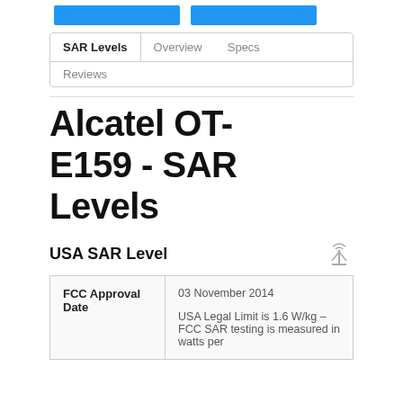[Figure (other): Two blue navigation button bars at the top of the page]
SAR Levels   Overview   Specs   Reviews
Alcatel OT-E159 - SAR Levels
USA SAR Level
|  |  |
| --- | --- |
| FCC Approval Date | 03 November 2014

USA Legal Limit is 1.6 W/kg – FCC SAR testing is measured in watts per |